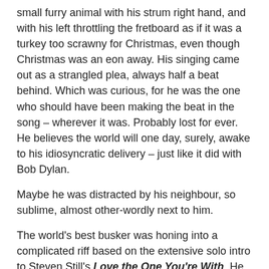small furry animal with his strum right hand, and with his left throttling the fretboard as if it was a turkey too scrawny for Christmas, even though Christmas was an eon away. His singing came out as a strangled plea, always half a beat behind. Which was curious, for he was the one who should have been making the beat in the song – wherever it was. Probably lost for ever. He believes the world will one day, surely, awake to his idiosyncratic delivery – just like it did with Bob Dylan.
Maybe he was distracted by his neighbour, so sublime, almost other-wordly next to him.
The world's best busker was honing into a complicated riff based on the extensive solo intro to Steven Still's Love the One You're With. He was all flying fingers and finesse. He bent over his guitar, the instrument and him one life force, one breath, one impulse.